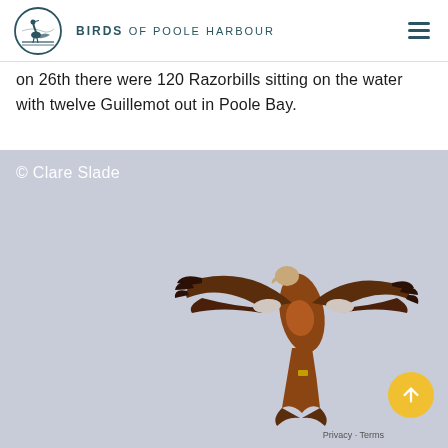BIRDS of POOLE HARBOUR
on 26th there were 120 Razorbills sitting on the water with twelve Guillemot out in Poole Bay.
[Figure (photo): A Red Kite bird in flight photographed against a grey-blue sky. The bird's wings are spread wide showing brown, white and black feather patterns. Copyright Clare Slade.]